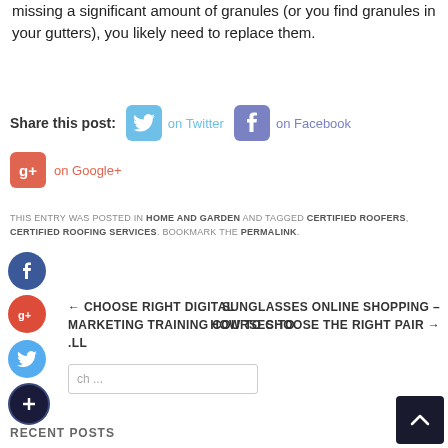missing a significant amount of granules (or you find granules in your gutters), you likely need to replace them.
Share this post:  on Twitter  on Facebook  on Google+
THIS ENTRY WAS POSTED IN HOME AND GARDEN AND TAGGED CERTIFIED ROOFERS, CERTIFIED ROOFING SERVICES. BOOKMARK THE PERMALINK.
← CHOOSE RIGHT DIGITAL MARKETING TRAINING COURSES TO INSTALL
SUNGLASSES ONLINE SHOPPING – HOW TO CHOOSE THE RIGHT PAIR →
Search ...
RECENT POSTS